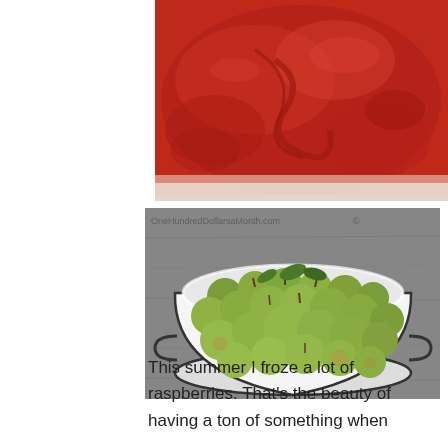[Figure (photo): Close-up photo of red tomato paste or sauce in a bowl, with a creamy white rim visible at the bottom edge.]
[Figure (photo): Photo of a white enamel bowl filled with many small green crab apples or similar small fruit, with green leaves, set on a gray surface. Watermark reads 'OneHundredDollarsaMonth.com'.]
This summer I froze a lot of raspberries. That's the beauty of having a ton of something when